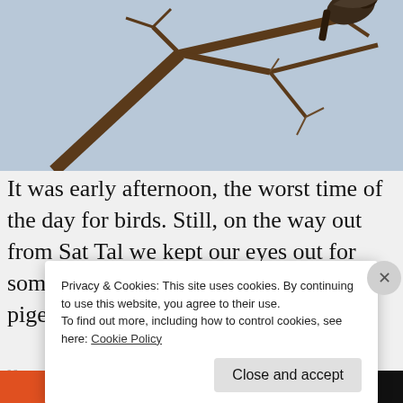[Figure (photo): Bird perched in bare tree branches against a pale blue-grey sky, photographed from below]
It was early afternoon, the worst time of the day for birds. Still, on the way out from Sat Tal we kept our eyes out for some. I missed a wedge-tailed green pigeon lurking in the u... k...
Privacy & Cookies: This site uses cookies. By continuing to use this website, you agree to their use.
To find out more, including how to control cookies, see here: Cookie Policy
Close and accept